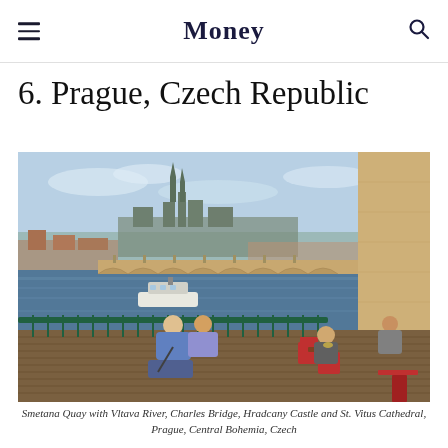Money
6. Prague, Czech Republic
[Figure (photo): Smetana Quay with Vltava River, Charles Bridge, Hradcany Castle and St. Vitus Cathedral, Prague, Central Bohemia, Czech Republic. People sitting on a riverside terrace in the foreground, a tourist boat on the river, and the historic bridge with castle in the background.]
Smetana Quay with Vltava River, Charles Bridge, Hradcany Castle and St. Vitus Cathedral, Prague, Central Bohemia, Czech